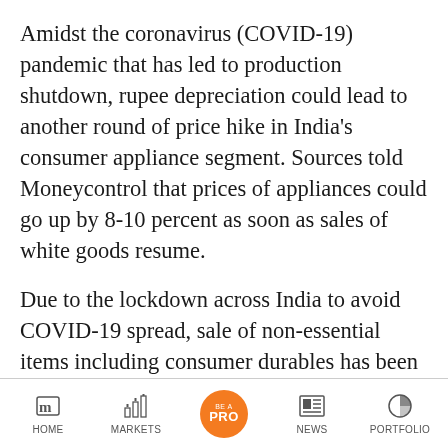Amidst the coronavirus (COVID-19) pandemic that has led to production shutdown, rupee depreciation could lead to another round of price hike in India's consumer appliance segment. Sources told Moneycontrol that prices of appliances could go up by 8-10 percent as soon as sales of white goods resume.
Due to the lockdown across India to avoid COVID-19 spread, sale of non-essential items including consumer durables has been temporarily suspended. With the global uncertainty around coronavirus, Indian rupee has fallen further and is trading at 75.4 against
HOME | MARKETS | BE A PRO | NEWS | PORTFOLIO